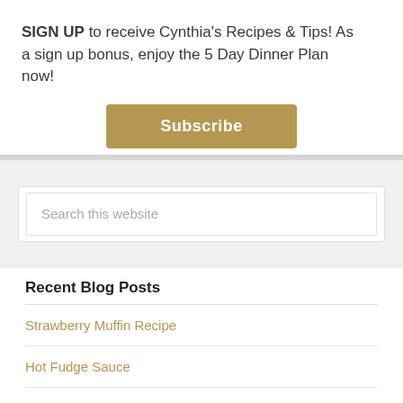SIGN UP to receive Cynthia's Recipes & Tips! As a sign up bonus, enjoy the 5 Day Dinner Plan now!
Subscribe
Search this website
Recent Blog Posts
Strawberry Muffin Recipe
Hot Fudge Sauce
Italian Greens and Beans Recipe